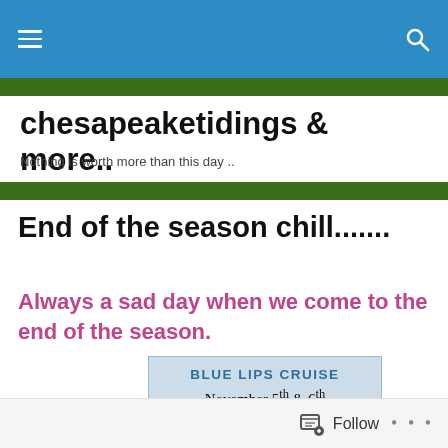chesapeaketidings & more.. — Navigation bar
chesapeaketidings & more..
Nothing is worth more than this day ..
End of the season chill.......
Always a sad day when we come to the end of the season.
[Figure (other): Blue Lips Cruise flyer showing text: BLUE LIPS CRUISE, November 5th & 6th, A MD Yacht Club event]
Follow